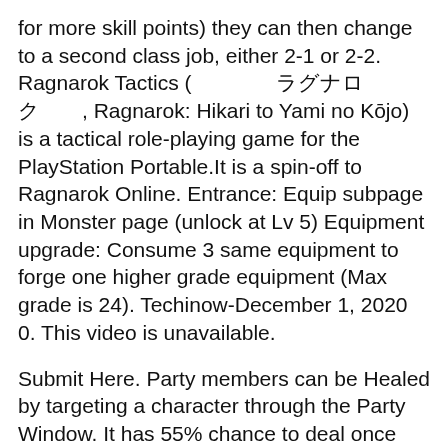for more skill points) they can then change to a second class job, either 2-1 or 2-2. Ragnarok Tactics (　　　　ラグナロク　　, Ragnarok: Hikari to Yami no Kōjo) is a tactical role-playing game for the PlayStation Portable.It is a spin-off to Ragnarok Online. Entrance: Equip subpage in Monster page (unlock at Lv 5) Equipment upgrade: Consume 3 same equipment to forge one higher grade equipment (Max grade is 24). Techinow-December 1, 2020 0. This video is unavailable.
Submit Here. Party members can be Healed by targeting a character through the Party Window. It has 55% chance to deal once extra DMG and 10% chance to deal twice extra DMG. TeamFight Tactics Tier List – Tier S. These are the best champions in TFT: Pyke (2$): Pirate and also Assassin; Draven (4$): Imperial and also Blademaster; Sejuani (4$): Glacial and also Knight; Garen (1$): Noble and also Knight; Gnar (4$): Wild, Shapeshiffter and also Yordle; Aurelion Sol (4$): Dragon and also Sorcerer